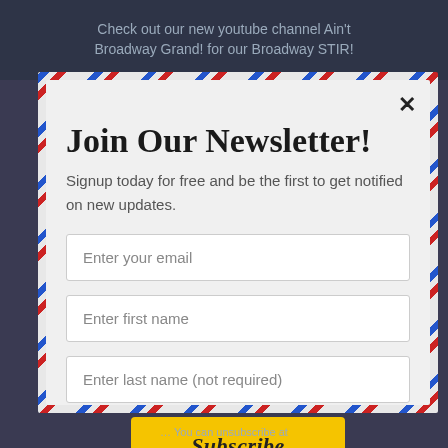Check out our new youtube channel Ain't Broadway Grand! for our Broadway STIR!
Join Our Newsletter!
Signup today for free and be the first to get notified on new updates.
Enter your email
Enter first name
Enter last name (not required)
Subscribe
You can unsubscribe at